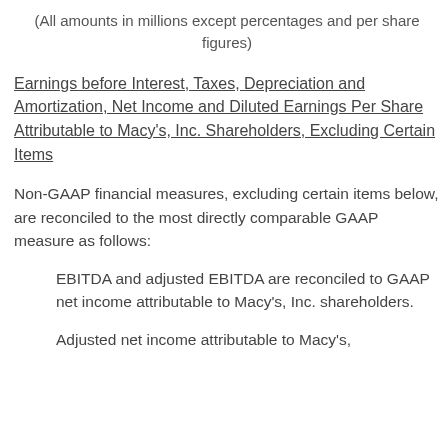(All amounts in millions except percentages and per share figures)
Earnings before Interest, Taxes, Depreciation and Amortization, Net Income and Diluted Earnings Per Share Attributable to Macy's, Inc. Shareholders, Excluding Certain Items
Non-GAAP financial measures, excluding certain items below, are reconciled to the most directly comparable GAAP measure as follows:
EBITDA and adjusted EBITDA are reconciled to GAAP net income attributable to Macy's, Inc. shareholders.
Adjusted net income attributable to Macy's,